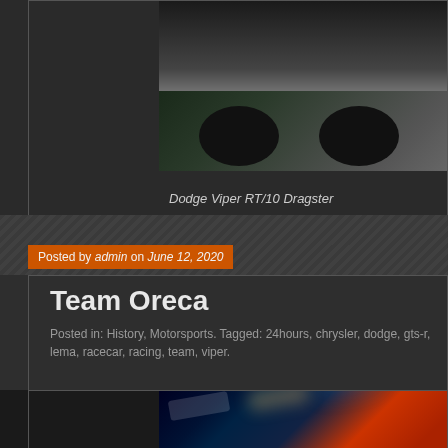[Figure (photo): Partial view of a green dragster/race car (Dodge Viper RT/10 Dragster) from above/front angle showing wheels and body]
Dodge Viper RT/10 Dragster
Posted by admin on June 12, 2020
Team Oreca
Posted in: History, Motorsports. Tagged: 24hours, chrysler, dodge, gts-r, lema, racecar, racing, team, viper.
[Figure (photo): Night racing photo of a Chrysler/Dodge race car with motion blur light streaks, blue and red tones]